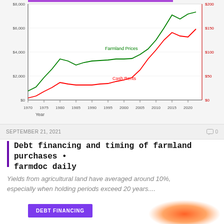[Figure (line-chart): Farmland Prices and Cash Rents]
SEPTEMBER 21, 2021   0
Debt financing and timing of farmland purchases • farmdoc daily
Yields from agricultural land have averaged around 10%, especially when holding periods exceed 20 years....
DEBT FINANCING
[Figure (illustration): Orange blob/gradient shape, partial view at bottom right]